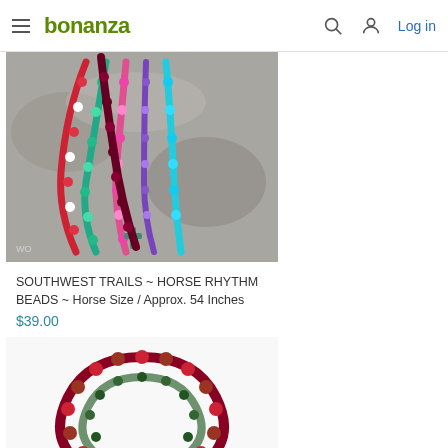bonanza | Log in
[Figure (photo): Photo of colorful horse rhythm beads with a turquoise cross pendant, laid on a rock surface. Beads include red, green, blue, purple, and pink strands.]
SOUTHWEST TRAILS ~ HORSE RHYTHM BEADS ~ Horse Size / Approx. 54 Inches
$39.00
[Figure (photo): Photo of dark red and green beaded necklace arranged in a loop/spiral shape on a white background.]